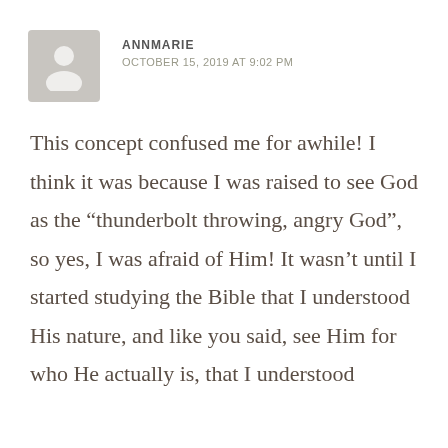ANNMARIE
OCTOBER 15, 2019 AT 9:02 PM
This concept confused me for awhile! I think it was because I was raised to see God as the “thunderbolt throwing, angry God”, so yes, I was afraid of Him! It wasn’t until I started studying the Bible that I understood His nature, and like you said, see Him for who He actually is, that I understood